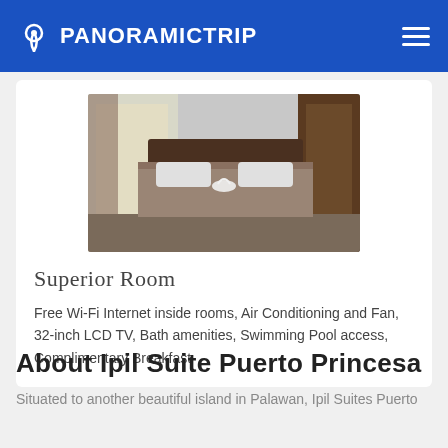PANORAMICTRIP
[Figure (photo): Hotel superior room with double bed, brown bedspread, towel swan on bed, window with curtains on left, wooden door on right]
Superior Room
Free Wi-Fi Internet inside rooms, Air Conditioning and Fan, 32-inch LCD TV, Bath amenities, Swimming Pool access, Complimentary Breakfast
About Ipil Suite Puerto Princesa
Situated to another beautiful island in Palawan, Ipil Suites Puerto